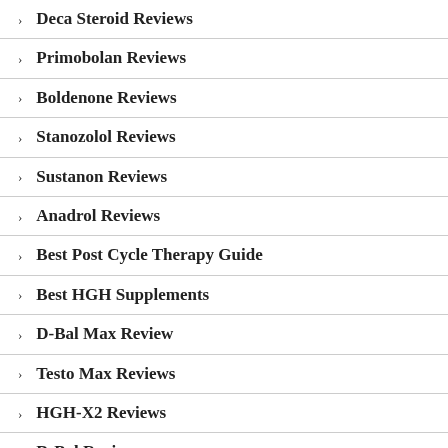Deca Steroid Reviews
Primobolan Reviews
Boldenone Reviews
Stanozolol Reviews
Sustanon Reviews
Anadrol Reviews
Best Post Cycle Therapy Guide
Best HGH Supplements
D-Bal Max Review
Testo Max Reviews
HGH-X2 Reviews
D-Bal Reviews
Anvarol Reviews